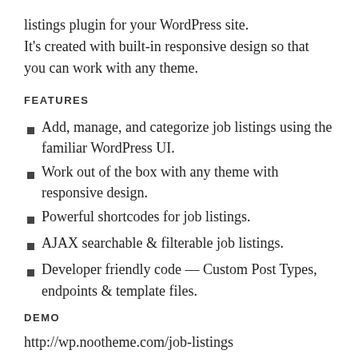listings plugin for your WordPress site. It's created with built-in responsive design so that you can work with any theme.
FEATURES
Add, manage, and categorize job listings using the familiar WordPress UI.
Work out of the box with any theme with responsive design.
Powerful shortcodes for job listings.
AJAX searchable & filterable job listings.
Developer friendly code — Custom Post Types, endpoints & template files.
DEMO
http://wp.nootheme.com/job-listings